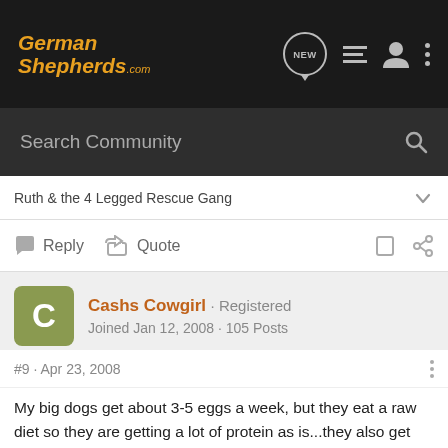GermanShepherds.com
Search Community
Ruth & the 4 Legged Rescue Gang
Reply  Quote
Cashs Cowgirl · Registered
Joined Jan 12, 2008 · 105 Posts
#9 · Apr 23, 2008
My big dogs get about 3-5 eggs a week, but they eat a raw diet so they are getting a lot of protein as is...they also get any eggs that I find cracked in the hen house. They eat the whole thing.